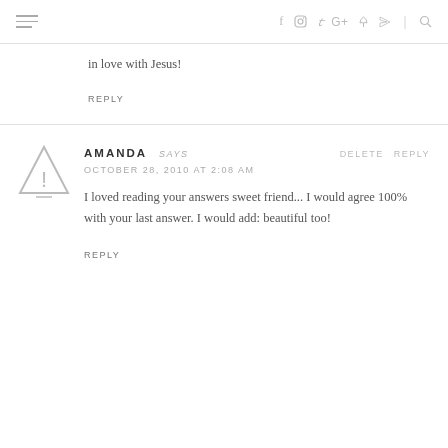navigation header with hamburger menu and social icons: f, instagram, twitter, G+, pinterest, rss, search
in love with Jesus!
REPLY
AMANDA SAYS
OCTOBER 28, 2010 AT 2:08 AM
I loved reading your answers sweet friend... I would agree 100% with your last answer. I would add: beautiful too!
REPLY